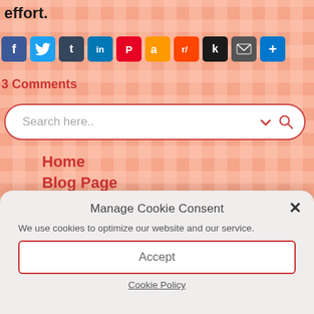effort.
[Figure (infographic): Row of social media share icons: Facebook, Twitter, Tumblr, LinkedIn, Pinterest, Amazon, Reddit, Kinja, Email, Share]
3 Comments
[Figure (screenshot): Search bar with placeholder text 'Search here..' and search icon]
Home
Blog Page
Books
Reviews
Interviews
Manage Cookie Consent
We use cookies to optimize our website and our service.
Accept
Cookie Policy